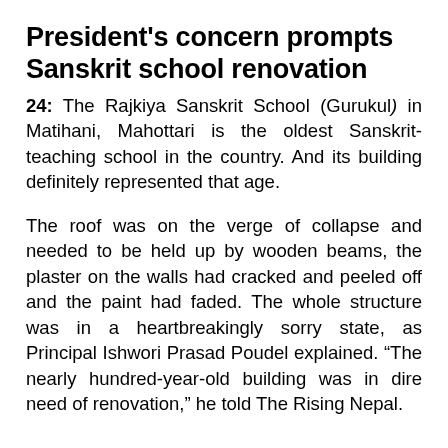President's concern prompts Sanskrit school renovation
24: The Rajkiya Sanskrit School (Gurukul) in Matihani, Mahottari is the oldest Sanskrit-teaching school in the country. And its building definitely represented that age.
The roof was on the verge of collapse and needed to be held up by wooden beams, the plaster on the walls had cracked and peeled off and the paint had faded. The whole structure was in a heartbreakingly sorry state, as Principal Ishwori Prasad Poudel explained. “The nearly hundred-year-old building was in dire need of renovation,” he told The Rising Nepal.